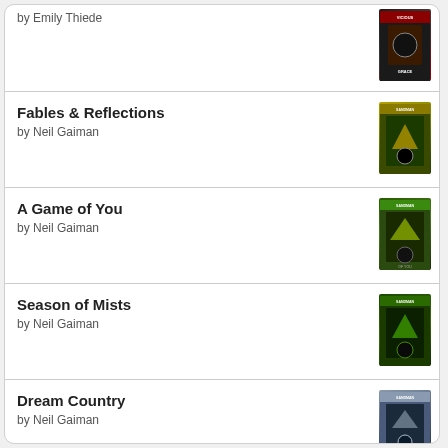by Emily Thiede
Fables & Reflections by Neil Gaiman
A Game of You by Neil Gaiman
Season of Mists by Neil Gaiman
Dream Country by Neil Gaiman
[Figure (logo): Goodreads logo inside a rounded rectangle button]
goodreads